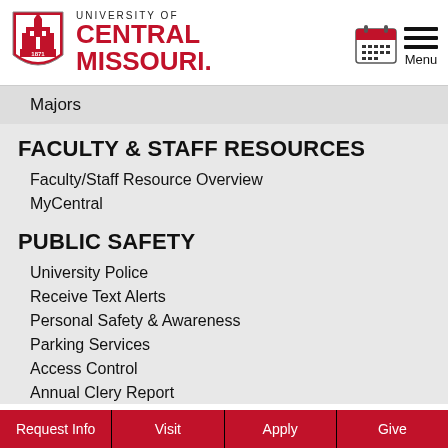[Figure (logo): University of Central Missouri shield logo with 1871 text]
UNIVERSITY OF CENTRAL MISSOURI
Majors
FACULTY & STAFF RESOURCES
Faculty/Staff Resource Overview
MyCentral
PUBLIC SAFETY
University Police
Receive Text Alerts
Personal Safety & Awareness
Parking Services
Access Control
Annual Clery Report
Request Info | Visit | Apply | Give